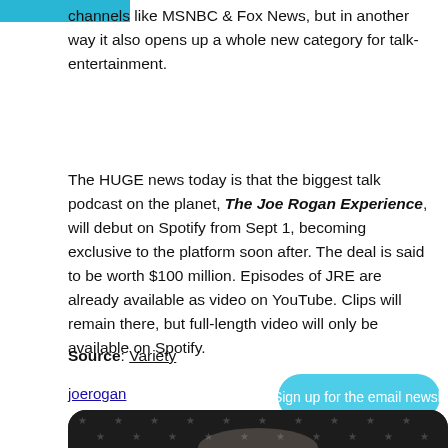channels like MSNBC & Fox News, but in another way it also opens up a whole new category for talk-entertainment.
The HUGE news today is that the biggest talk podcast on the planet, The Joe Rogan Experience, will debut on Spotify from Sept 1, becoming exclusive to the platform soon after. The deal is said to be worth $100 million. Episodes of JRE are already available as video on YouTube. Clips will remain there, but full-length video will only be available on Spotify.
Source: Variety
joerogan
[Figure (photo): Newsletter signup button overlay and photo strip at bottom showing a dark image with stars pattern]
Sign up for the email newsletter